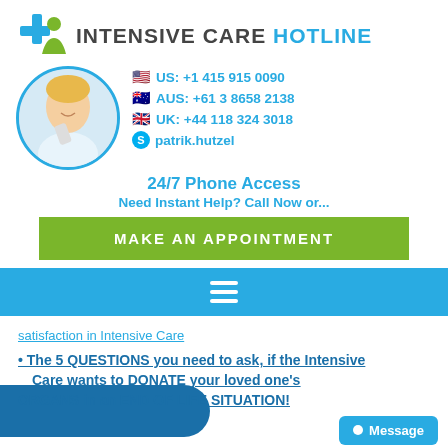[Figure (logo): Intensive Care Hotline logo with blue medical cross icon and person silhouette, text INTENSIVE CARE HOTLINE]
[Figure (photo): Circular photo of a smiling woman with blonde hair holding a phone, wearing white]
US: +1 415 915 0090
AUS: +61 3 8658 2138
UK: +44 118 324 3018
patrik.hutzel
24/7 Phone Access
Need Instant Help? Call Now or...
[Figure (infographic): Green button reading MAKE AN APPOINTMENT]
[Figure (infographic): Teal/blue navigation bar with hamburger menu icon (three white horizontal lines)]
satisfaction in Intensive Care
The 5 QUESTIONS you need to ask, if the Intensive Care wants to DONATE your loved one's ORGANS in an END OF LIFE SITUATION!
[Figure (infographic): Blue rounded rectangle banner overlay]
[Figure (infographic): Light blue Message button with circle dot icon in bottom right]